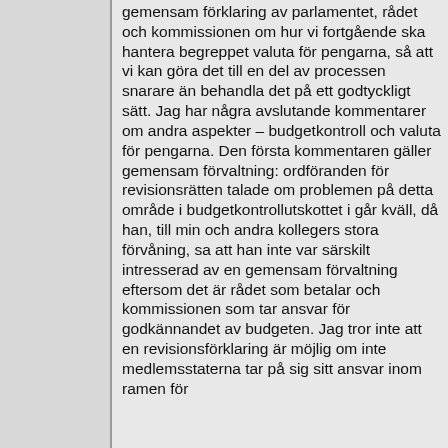gemensam förklaring av parlamentet, rådet och kommissionen om hur vi fortgående ska hantera begreppet valuta för pengarna, så att vi kan göra det till en del av processen snarare än behandla det på ett godtyckligt sätt. Jag har några avslutande kommentarer om andra aspekter – budgetkontroll och valuta för pengarna. Den första kommentaren gäller gemensam förvaltning: ordföranden för revisionsrätten talade om problemen på detta område i budgetkontrollutskottet i går kväll, då han, till min och andra kollegers stora förvåning, sa att han inte var särskilt intresserad av en gemensam förvaltning eftersom det är rådet som betalar och kommissionen som tar ansvar för godkännandet av budgeten. Jag tror inte att en revisionsförklaring är möjlig om inte medlemsstaterna tar på sig sitt ansvar inom ramen för